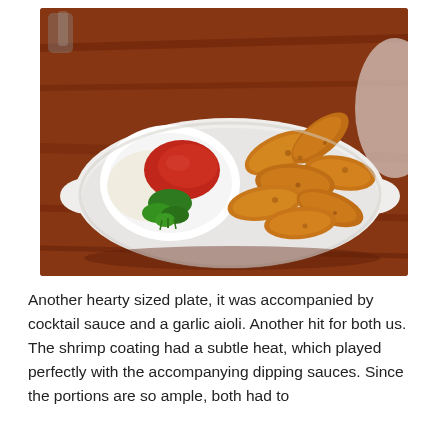[Figure (photo): A plate of fried shrimp with a dipping bowl containing cocktail sauce and garlic aioli, garnished with fresh parsley, served on a white oval dish on a dark wooden table.]
Another hearty sized plate, it was accompanied by cocktail sauce and a garlic aioli. Another hit for both us. The shrimp coating had a subtle heat, which played perfectly with the accompanying dipping sauces. Since the portions are so ample, both had to...